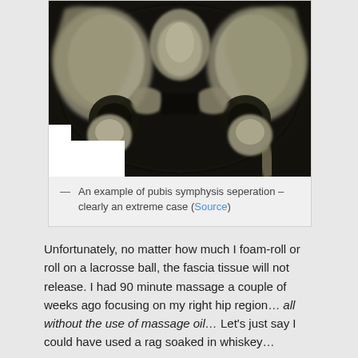[Figure (photo): X-ray image showing pubis symphysis separation in a pelvis — described as clearly an extreme case.]
— An example of pubis symphysis seperation – clearly an extreme case (Source)
Unfortunately, no matter how much I foam-roll or roll on a lacrosse ball, the fascia tissue will not release. I had 90 minute massage a couple of weeks ago focusing on my right hip region… all without the use of massage oil… Let's just say I could have used a rag soaked in whiskey…